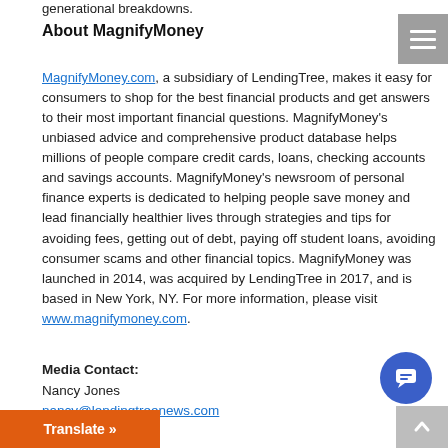generational breakdowns.
About MagnifyMoney
MagnifyMoney.com, a subsidiary of LendingTree, makes it easy for consumers to shop for the best financial products and get answers to their most important financial questions. MagnifyMoney's unbiased advice and comprehensive product database helps millions of people compare credit cards, loans, checking accounts and savings accounts. MagnifyMoney's newsroom of personal finance experts is dedicated to helping people save money and lead financially healthier lives through strategies and tips for avoiding fees, getting out of debt, paying off student loans, avoiding consumer scams and other financial topics. MagnifyMoney was launched in 2014, was acquired by LendingTree in 2017, and is based in New York, NY. For more information, please visit www.magnifymoney.com.
Media Contact:
Nancy Jones
nancy@lendingtreenews.com